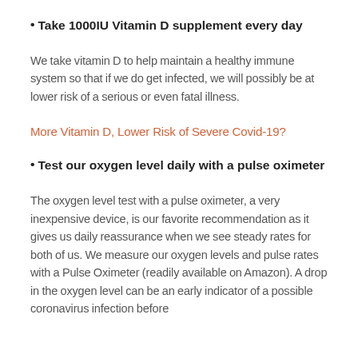Take 1000IU Vitamin D supplement every day
We take vitamin D to help maintain a healthy immune system so that if we do get infected, we will possibly be at lower risk of a serious or even fatal illness.
More Vitamin D, Lower Risk of Severe Covid-19?
Test our oxygen level daily with a pulse oximeter
The oxygen level test with a pulse oximeter, a very inexpensive device, is our favorite recommendation as it gives us daily reassurance when we see steady rates for both of us. We measure our oxygen levels and pulse rates with a Pulse Oximeter (readily available on Amazon). A drop in the oxygen level can be an early indicator of a possible coronavirus infection before